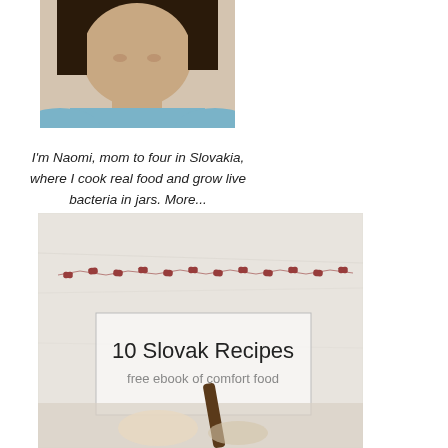[Figure (photo): Close-up photo of a woman's face and neck, short dark hair, wearing a light blue top, cropped at chin level]
I'm Naomi, mom to four in Slovakia, where I cook real food and grow live bacteria in jars. More...
[Figure (photo): Book cover photo showing '10 Slovak Recipes - free ebook of comfort food' on a white linen background with embroidered red floral border, with a wooden spoon and food visible at bottom]